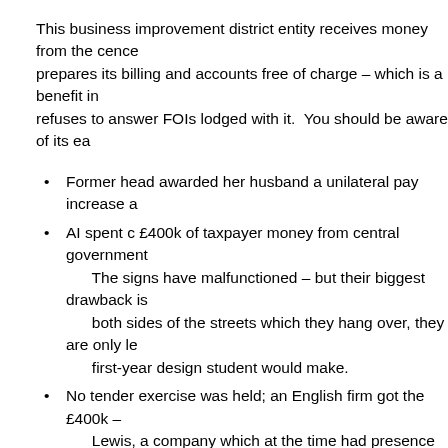This business improvement district entity receives money from the council, which prepares its billing and accounts free of charge – which is a benefit in kind – but refuses to answer FOIs lodged with it.  You should be aware of its ea…
Former head awarded her husband a unilateral pay increase a…
AI spent c £400k of taxpayer money from central government… The signs have malfunctioned – but their biggest drawback is… both sides of the streets which they hang over, they are only le… first-year design student would make.
No tender exercise was held; an English firm got the £400k –… Lewis, a company which at the time had presence on the AI b…
The money spent on the Christmas fairs, the ridiculously-high figures… of over 600k visitors – all this needs to be investigated and remedied…
There is a definite lack of retail/city planning expertise in the organisa… guide the city's retail future and the failures of the lack of relevant exp…
Torry: